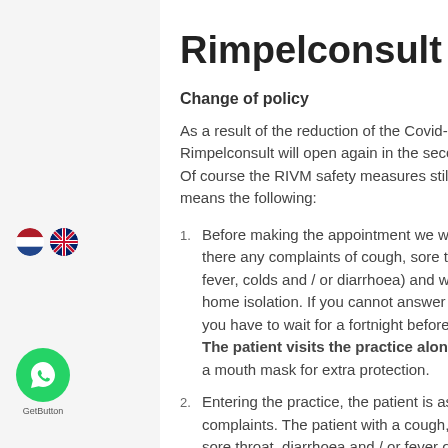[Figure (illustration): Dutch and UK flag icons side by side]
Rimpelconsult open a
Change of policy
As a result of the reduction of the Covid-1... Rimpelconsult will open again in the seco... Of course the RIVM safety measures still... means the following:
Before making the appointment we will as... there any complaints of cough, sore throa... fever, colds and / or diarrhoea) and whet... home isolation. If you cannot answer neg... you have to wait for a fortnight before ma... The patient visits the practice alone a... a mouth mask for extra protection.
Entering the practice, the patient is aske... complaints. The patient with a cough, col... sore throat, diarrhoea and / or fever or wi... housemates is not treated and will be rec...
[Figure (logo): WhatsApp GetButton green circle icon with WhatsApp logo and label 'GetButton']